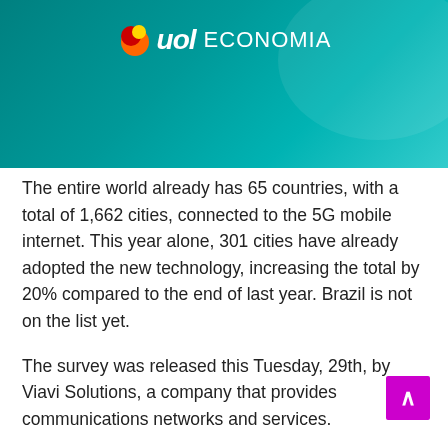[Figure (logo): UOL Economia logo on teal/green gradient banner header]
The entire world already has 65 countries, with a total of 1,662 cities, connected to the 5G mobile internet. This year alone, 301 cities have already adopted the new technology, increasing the total by 20% compared to the end of last year. Brazil is not on the list yet.
The survey was released this Tuesday, 29th, by Viavi Solutions, a company that provides communications networks and services.
China leads the 5G network, with 376 connected cities.